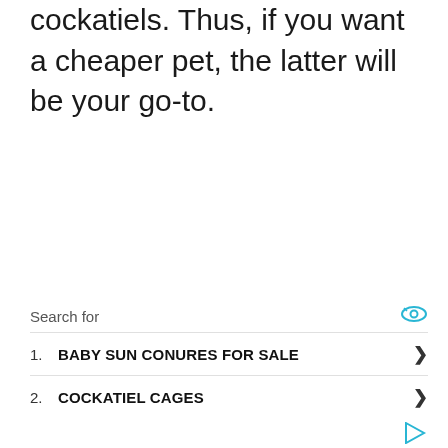cockatiels. Thus, if you want a cheaper pet, the latter will be your go-to.
1. BABY SUN CONURES FOR SALE
2. COCKATIEL CAGES